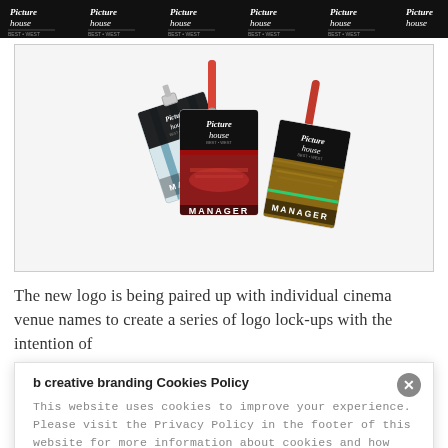[Figure (illustration): Dark banner strip showing multiple Picturehouse logos in white text on black background, repeated horizontally]
[Figure (photo): Three Picturehouse cinema manager lanyards/badges displayed on a white background. Each badge shows the Picturehouse logo and the word MANAGER. One badge has a blue/white striped background, one has a red cinema interior photo, and one has a gold/brown popcorn-like texture. Two red lanyards are visible at the top.]
The new logo is being paired up with individual cinema venue names to create a series of logo lock-ups with the intention of
b creative branding Cookies Policy
This website uses cookies to improve your experience. Please visit the Privacy Policy in the footer of this website for more information about cookies and how they're used.